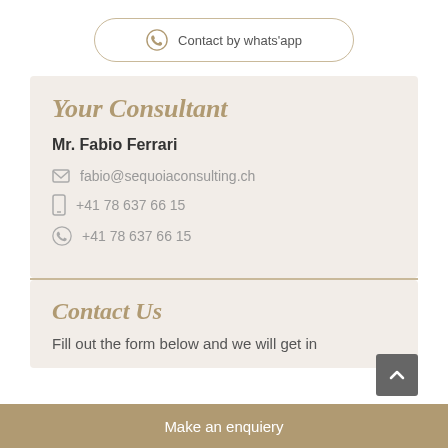Contact by whats'app
Your Consultant
Mr. Fabio Ferrari
fabio@sequoiaconsulting.ch
+41 78 637 66 15
+41 78 637 66 15
Contact Us
Fill out the form below and we will get in contact with you as soon as possible
Make an enquiery